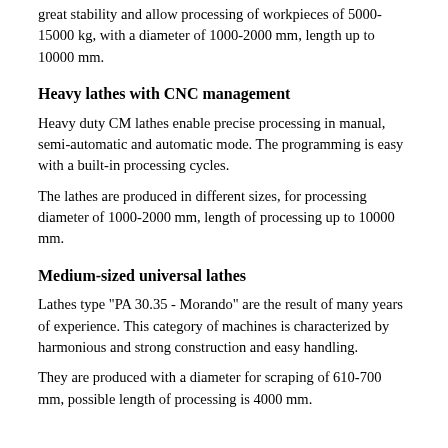great stability and allow processing of workpieces of 5000-15000 kg, with a diameter of 1000-2000 mm, length up to 10000 mm.
Heavy lathes with CNC management
Heavy duty CM lathes enable precise processing in manual, semi-automatic and automatic mode. The programming is easy with a built-in processing cycles.
The lathes are produced in different sizes, for processing diameter of 1000-2000 mm, length of processing up to 10000 mm.
Medium-sized universal lathes
Lathes type "PA 30.35 - Morando" are the result of many years of experience. This category of machines is characterized by harmonious and strong construction and easy handling.
They are produced with a diameter for scraping of 610-700 mm, possible length of processing is 4000 mm.